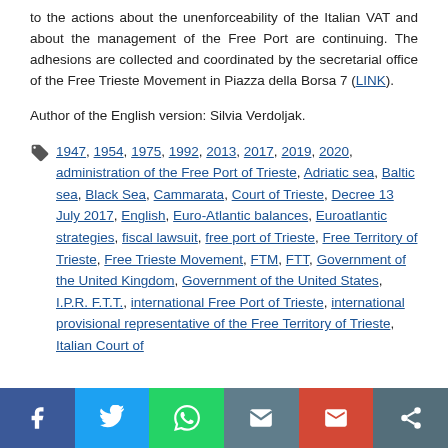to the actions about the unenforceability of the Italian VAT and about the management of the Free Port are continuing. The adhesions are collected and coordinated by the secretarial office of the Free Trieste Movement in Piazza della Borsa 7 (LINK).
Author of the English version: Silvia Verdoljak.
1947, 1954, 1975, 1992, 2013, 2017, 2019, 2020, administration of the Free Port of Trieste, Adriatic sea, Baltic sea, Black Sea, Cammarata, Court of Trieste, Decree 13 July 2017, English, Euro-Atlantic balances, Euroatlantic strategies, fiscal lawsuit, free port of Trieste, Free Territory of Trieste, Free Trieste Movement, FTM, FTT, Government of the United Kingdom, Government of the United States, I.P.R. F.T.T., international Free Port of Trieste, international provisional representative of the Free Territory of Trieste, Italian Court of
Social share bar: Facebook, Twitter, WhatsApp, Email, Gmail, Share